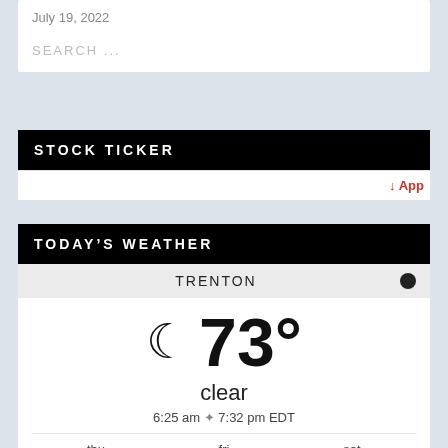July 19, 2022
SEARCH ...
STOCK TICKER
↓ App
TODAY'S WEATHER
TRENTON
[Figure (infographic): Weather widget showing partly cloudy moon icon, temperature 73°, condition clear, sunrise 6:25 am, sunset 7:32 pm EDT, forecast for thu 86/59°F, fri 86/61°F, sat 90/66°F]